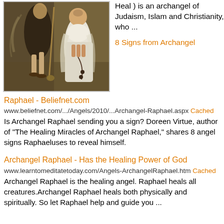[Figure (photo): A classical painting showing two figures: a person in dark clothing with sandals and wings visible, and a monk or friar in white robes with hands clasped in prayer.]
Heal ) is an archangel of Judaism, Islam and Christianity, who ...
8 Signs from Archangel
Raphael - Beliefnet.com
www.beliefnet.com/.../Angels/2010/...Archangel-Raphael.aspx Cached
Is Archangel Raphael sending you a sign? Doreen Virtue, author of "The Healing Miracles of Archangel Raphael," shares 8 angel signs Raphaeluses to reveal himself.
Archangel Raphael - Has the Healing Power of God
www.learntomeditatetoday.com/Angels-ArchangelRaphael.htm Cached
Archangel Raphael is the healing angel. Raphael heals all creatures.Archangel Raphael heals both physically and spiritually. So let Raphael help and guide you ...